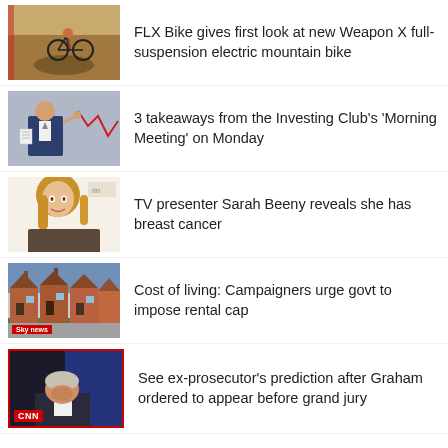[Figure (photo): Cyclist on dirt trail, mountain bike action shot]
FLX Bike gives first look at new Weapon X full-suspension electric mountain bike
[Figure (photo): Man in suit gesturing with stock market chart in background]
3 takeaways from the Investing Club's 'Morning Meeting' on Monday
[Figure (photo): Woman with long blonde hair, Sarah Beeny]
TV presenter Sarah Beeny reveals she has breast cancer
[Figure (photo): Row of brick terraced houses, Sky News logo]
Cost of living: Campaigners urge govt to impose rental cap
[Figure (photo): Older man with head bowed, CNN logo overlay]
See ex-prosecutor's prediction after Graham ordered to appear before grand jury